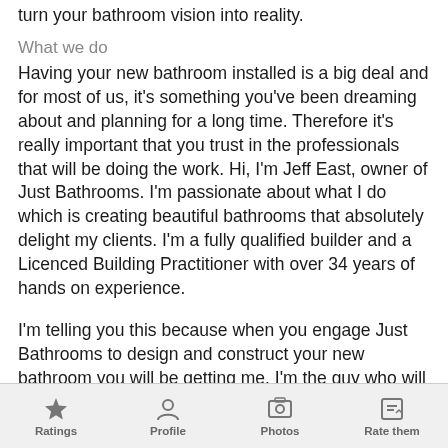turn your bathroom vision into reality.
What we do
Having your new bathroom installed is a big deal and for most of us, it's something you've been dreaming about and planning for a long time. Therefore it's really important that you trust in the professionals that will be doing the work. Hi, I'm Jeff East, owner of Just Bathrooms. I'm passionate about what I do which is creating beautiful bathrooms that absolutely delight my clients. I'm a fully qualified builder and a Licenced Building Practitioner with over 34 years of hands on experience.
I'm telling you this because when you engage Just Bathrooms to design and construct your new bathroom you will be getting me. I'm the guy who will be doing the work, I'm the one who will be arranging and managing the specialist sub-contractors. And you will have my personal
Ratings   Profile   Photos   Rate them